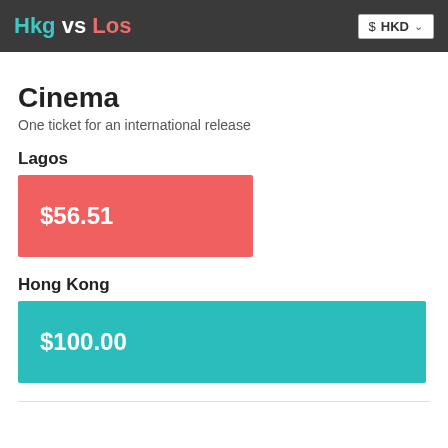Hkg vs Los  $ HKD
Cinema
One ticket for an international release
Lagos
[Figure (bar-chart): Lagos vs Hong Kong Cinema ticket price]
Hong Kong